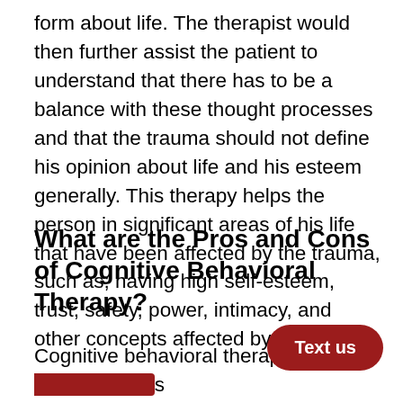form about life. The therapist would then further assist the patient to understand that there has to be a balance with these thought processes and that the trauma should not define his opinion about life and his esteem generally. This therapy helps the person in significant areas of his life that have been affected by the trauma, such as; having high self-esteem, trust, safety, power, intimacy, and other concepts affected by the trauma.
What are the Pros and Cons of Cognitive Behavioral Therapy?
Cognitive behavioral therapy has i[ts disadvantage]s and advantages. We would be looking into some of